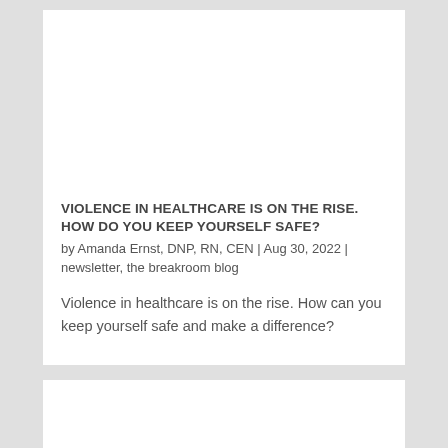VIOLENCE IN HEALTHCARE IS ON THE RISE. HOW DO YOU KEEP YOURSELF SAFE?
by Amanda Ernst, DNP, RN, CEN | Aug 30, 2022 | newsletter, the breakroom blog
Violence in healthcare is on the rise. How can you keep yourself safe and make a difference?